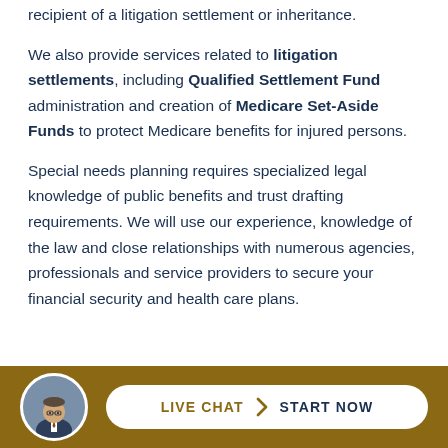recipient of a litigation settlement or inheritance.
We also provide services related to litigation settlements, including Qualified Settlement Fund administration and creation of Medicare Set-Aside Funds to protect Medicare benefits for injured persons.
Special needs planning requires specialized legal knowledge of public benefits and trust drafting requirements. We will use our experience, knowledge of the law and close relationships with numerous agencies, professionals and service providers to secure your financial security and health care plans.
[Figure (photo): Circular headshot photo of a professional man in suit and tie, used as avatar in live chat button area]
LIVE CHAT  START NOW